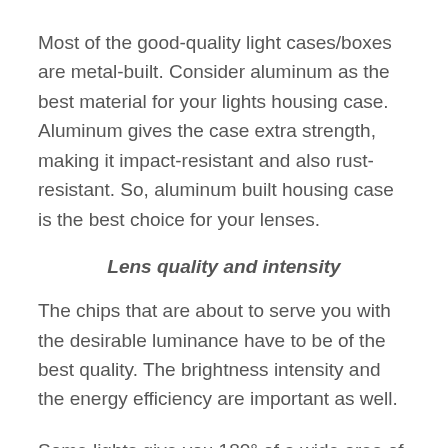Most of the good-quality light cases/boxes are metal-built. Consider aluminum as the best material for your lights housing case. Aluminum gives the case extra strength, making it impact-resistant and also rust-resistant. So, aluminum built housing case is the best choice for your lenses.
Lens quality and intensity
The chips that are about to serve you with the desirable luminance have to be of the best quality. The brightness intensity and the energy efficiency are important as well.
Some lights give you 180° of a wide area of visibility. In the rockiest roads, where you need clear and